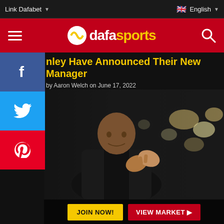Link Dafabet | English
[Figure (logo): Dafa Sports logo — red background bar with hamburger menu on left, circular dafa sports logo in center (white circle with stripe, 'dafa' in white bold and 'sports' in yellow), search icon on right]
nley Have Announced Their New Manager
by Aaron Welch on June 17, 2022
[Figure (photo): A man in a black jacket clapping his hands, photographed against a blurred stadium background with bright lights, likely a football manager or coach]
JOIN NOW! | VIEW MARKET ▶